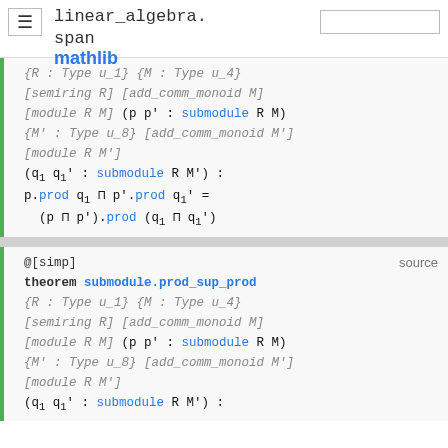linear_algebra.span  mathlib
{R : Type u_1} {M : Type u_4} [semiring R] [add_comm_monoid M] [module R M] (p p' : submodule R M) {M' : Type u_8} [add_comm_monoid M'] [module R M'] (q₁ q₁' : submodule R M') : p.prod q₁ ⊓ p'.prod q₁' = (p ⊓ p').prod (q₁ ⊓ q₁')
@[simp]  source
theorem submodule.prod_sup_prod
{R : Type u_1} {M : Type u_4} [semiring R] [add_comm_monoid M] [module R M] (p p' : submodule R M) {M' : Type u_8} [add_comm_monoid M'] [module R M'] (q₁ q₁' : submodule R M') :